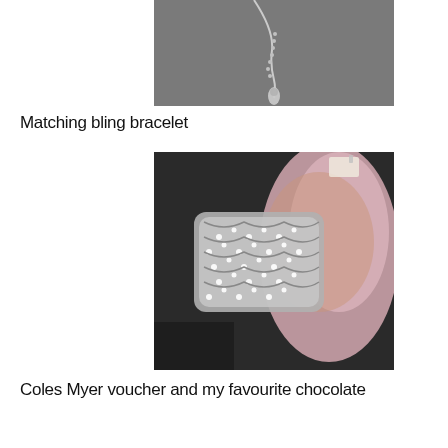[Figure (photo): Close-up photo of a silver necklace with a teardrop pendant against a dark grey fabric background.]
Matching bling bracelet
[Figure (photo): Photo of a wide rhinestone/crystal bling bracelet being held alongside a pink satin fabric item with a price tag.]
Coles Myer voucher and my favourite chocolate